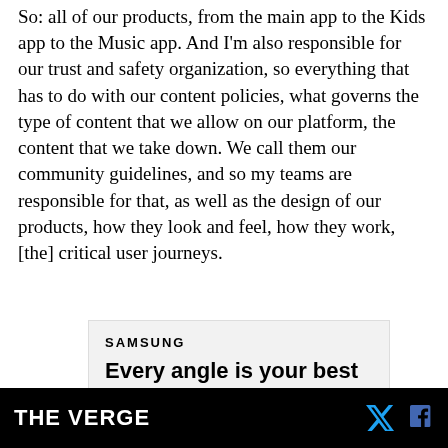So: all of our products, from the main app to the Kids app to the Music app. And I'm also responsible for our trust and safety organization, so everything that has to do with our content policies, what governs the type of content that we allow on our platform, the content that we take down. We call them our community guidelines, and so my teams are responsible for that, as well as the design of our products, how they look and feel, how they work, [the] critical user journeys.
[Figure (other): Samsung advertisement with text: SAMSUNG and 'Every angle is your best angle with FlexCam']
THE VERGE